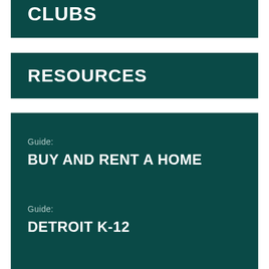CLUBS
RESOURCES
Guide:
BUY AND RENT A HOME
Guide:
DETROIT K-12